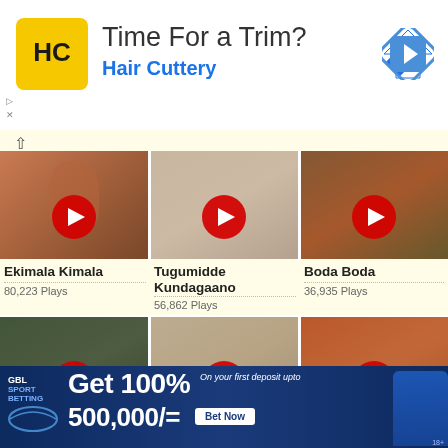[Figure (screenshot): Hair Cuttery advertisement banner with HC logo on yellow background, text 'Time For a Trim?' and 'Hair Cuttery' in blue, with navigation arrow icon]
[Figure (screenshot): Video thumbnail grid showing 6 video thumbnails with red play buttons. Row 1: 'Ekimala Kimala' (80,223 Plays), 'Tugumidde Kundagaano' (56,862 Plays), 'Boda Boda' (36,935 Plays). Row 2: 'Bwino Wekomera', 'Akanyomonyomo', 'Abalya Mere'.]
[Figure (screenshot): GBL Sport Betting advertisement banner: 'Get 100% On your first deposit upto 500,000/=' with Bet Now button and man in blue shirt]